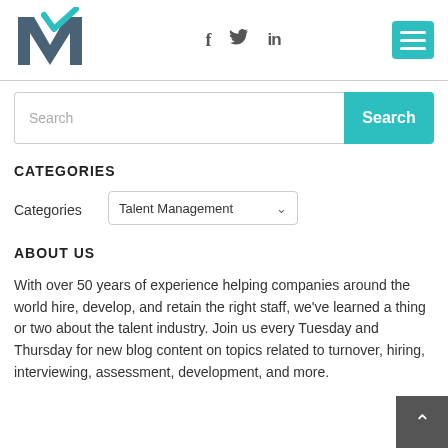[Figure (logo): Mettl logo — stylized M with teal checkmark]
[Figure (infographic): Social media icons: Facebook (f), Twitter (bird), LinkedIn (in)]
[Figure (infographic): Hamburger menu button (teal square with three white lines)]
Search
Search
CATEGORIES
Categories
Talent Management
ABOUT US
With over 50 years of experience helping companies around the world hire, develop, and retain the right staff, we've learned a thing or two about the talent industry. Join us every Tuesday and Thursday for new blog content on topics related to turnover, hiring, interviewing, assessment, development, and more.